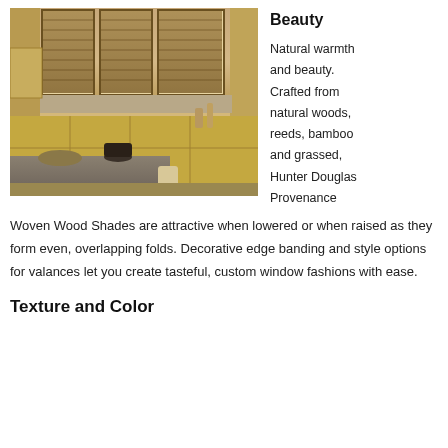[Figure (photo): Kitchen interior with woven wood shades on windows above a sink, yellow cabinetry, and a kitchen island in the foreground]
Beauty
Natural warmth and beauty. Crafted from natural woods, reeds, bamboo and grassed, Hunter Douglas Provenance Woven Wood Shades are attractive when lowered or when raised as they form even, overlapping folds. Decorative edge banding and style options for valances let you create tasteful, custom window fashions with ease.
Texture and Color